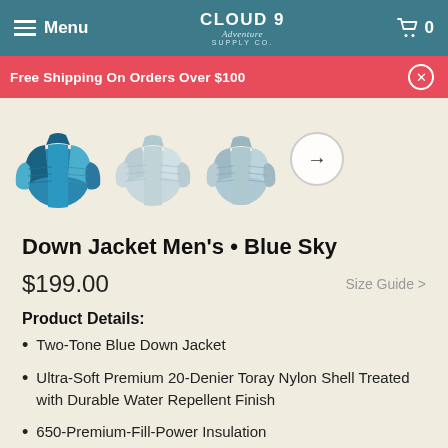Menu | CLOUD 9 Adventure Supply Co. | Cart 0
Free Shipping On Orders Over $100
[Figure (photo): Four product thumbnail images of down jackets in blue and light grey colorways, with a right-arrow navigation button]
Down Jacket Men's • Blue Sky
$199.00
Size Guide >
Product Details:
Two-Tone Blue Down Jacket
Ultra-Soft Premium 20-Denier Toray Nylon Shell Treated with Durable Water Repellent Finish
650-Premium-Fill-Power Insulation